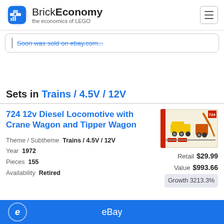BrickEconomy – the economics of LEGO
Soon was sold on ebay.com...
Sets in Trains / 4.5V / 12V
724 12v Diesel Locomotive with Crane Wagon and Tipper Wagon
[Figure (photo): Box image of LEGO set 724, showing yellow diesel locomotives and crane wagons on train tracks]
Theme / Subtheme  Trains / 4.5V / 12V
Year  1972
Pieces  155
Availability  Retired
Retail $29.99
Value $993.66
Growth 3213.3%
eBay